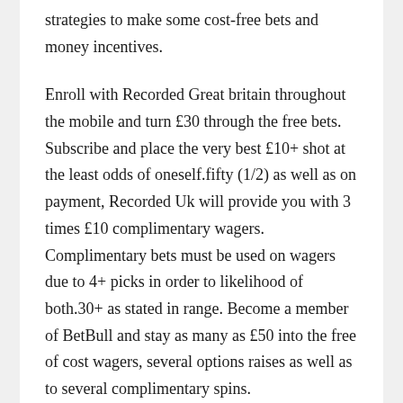strategies to make some cost-free bets and money incentives.
Enroll with Recorded Great britain throughout the mobile and turn £30 through the free bets. Subscribe and place the very best £10+ shot at the least odds of oneself.fifty (1/2) as well as on payment, Recorded Uk will provide you with 3 times £10 complimentary wagers. Complimentary bets must be used on wagers due to 4+ picks in order to likelihood of both.30+ as stated in range. Become a member of BetBull and stay as many as £50 into the free of cost wagers, several options raises as well as to several complimentary spins.